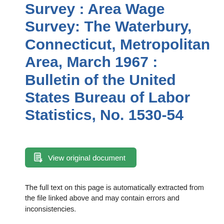Survey : Area Wage Survey: The Waterbury, Connecticut, Metropolitan Area, March 1967 : Bulletin of the United States Bureau of Labor Statistics, No. 1530-54
View original document
The full text on this page is automatically extracted from the file linked above and may contain errors and inconsistencies.